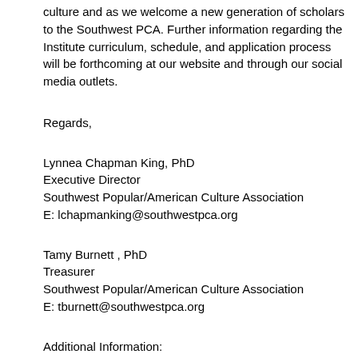culture and as we welcome a new generation of scholars to the Southwest PCA. Further information regarding the Institute curriculum, schedule, and application process will be forthcoming at our website and through our social media outlets.
Regards,
Lynnea Chapman King, PhD
Executive Director
Southwest Popular/American Culture Association
E: lchapmanking@southwestpca.org
Tamy Burnett , PhD
Treasurer
Southwest Popular/American Culture Association
E: tburnett@southwestpca.org
Additional Information:
http://southwestpca.org/leadership-institute/